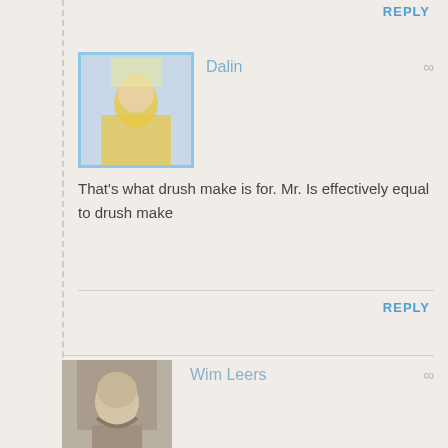REPLY
[Figure (photo): Avatar photo of Dalin - person with yellow clothing, light blue border]
Dalin
∞
That's what drush make is for. Mr. Is effectively equal to drush make
REPLY
[Figure (photo): Avatar photo of Wim Leers - bearded man]
Wim Leers
∞
@Mike: I agree with Diane, running drush up automatically is very dangerous.

(This answers question 2 in your comment.)
REPLY
[Figure (photo): Avatar photo of Wim Leers - second instance, bearded man]
Wim Leers
∞